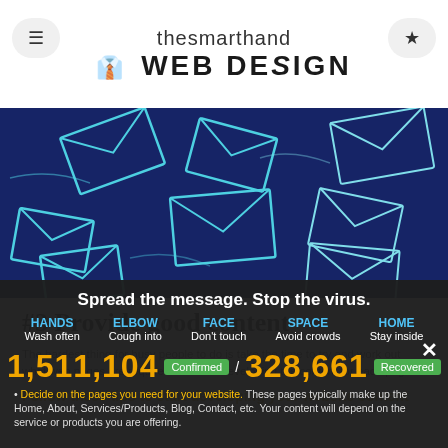thesmarthand WEB DESIGN
[Figure (illustration): Dark blue background illustration showing multiple envelope outlines drawn in light blue/cyan lines, scattered at various angles, representing email or messaging concept.]
#3 Provide good content
The hardest thing for busy people to do is take the time to try and work out what web pages are required and then developing the content for each page.
Follow these tips to start developing your website content
[Figure (infographic): COVID-19 overlay banner. Title: 'Spread the message. Stop the virus.' Five columns: HANDS Wash often, ELBOW Cough into, FACE Don't touch, SPACE Avoid crowds, HOME Stay inside. Stats: 1,511,104 Confirmed / 328,661 Recovered.]
Decide on the pages you need for your website. These pages typically make up the Home, About, Services/Products, Blog, Contact, etc. Your content will depend on the service or products you are offering.